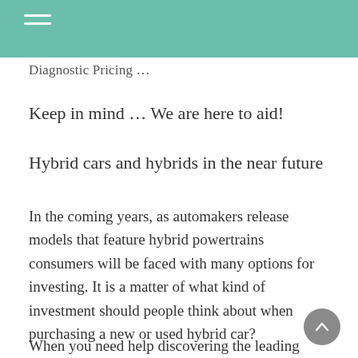Diagnostic Pricing ...
Keep in mind … We are here to aid!
Hybrid cars and hybrids in the near future
In the coming years, as automakers release models that feature hybrid powertrains consumers will be faced with many options for investing. It is a matter of what kind of investment should people think about when purchasing a new or used hybrid car?
When you need help discovering the leading